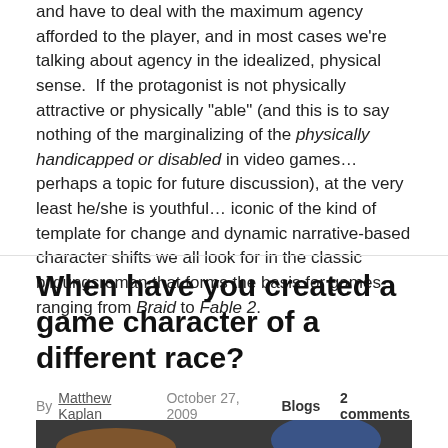and have to deal with the maximum agency afforded to the player, and in most cases we're talking about agency in the idealized, physical sense.  If the protagonist is not physically attractive or physically "able" (and this is to say nothing of the marginalizing of the physically handicapped or disabled in video games… perhaps a topic for future discussion), at the very least he/she is youthful… iconic of the kind of template for change and dynamic narrative-based character shifts we all look for in the classic bildungsroman that forms the basis for games ranging from Braid to Fable 2.
When have you created a game character of a different race?
By Matthew Kaplan  October 27, 2009  Blogs  2 comments
[Figure (photo): Partial view of a game screenshot showing two characters, a brown figure on the left and a blue figure on the right, against a dark background.]